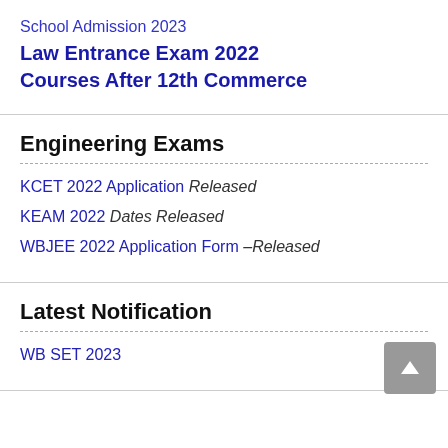School Admission 2023
Law Entrance Exam 2022
Courses After 12th Commerce
Engineering Exams
KCET 2022 Application Released
KEAM 2022 Dates Released
WBJEE 2022 Application Form – Released
Latest Notification
WB SET 2023